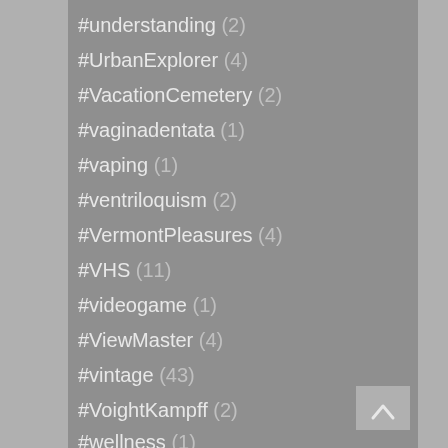#understanding (2)
#UrbanExplorer (4)
#VacationCemetery (2)
#vaginadentata (1)
#vaping (1)
#ventriloquism (2)
#VermontPleasures (4)
#VHS (11)
#videogame (1)
#ViewMaster (4)
#vintage (43)
#VoightKampff (2)
#walkoffame (1)
#website (4)
#wellness (1)